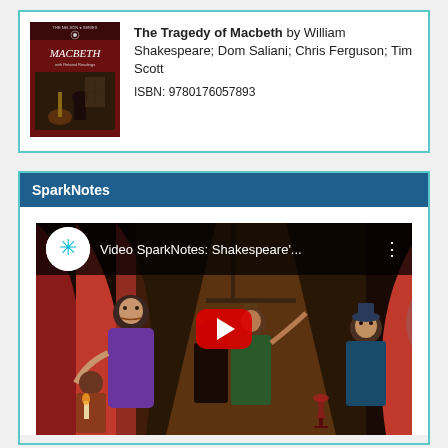[Figure (illustration): Book cover of The Tragedy of Macbeth with a dark theatrical scene]
The Tragedy of Macbeth by William Shakespeare; Dom Saliani; Chris Ferguson; Tim Scott ISBN: 9780176057893
SparkNotes
[Figure (screenshot): YouTube video thumbnail for 'Video SparkNotes: Shakespeare's...' showing illustrated characters from Macbeth with a red play button]